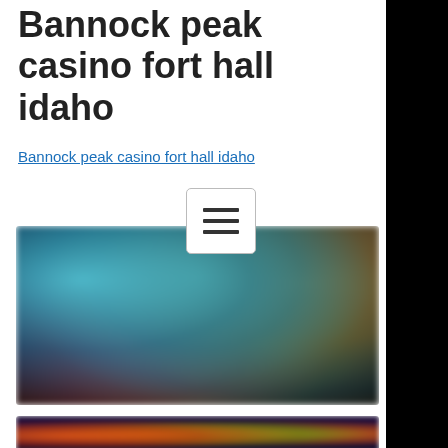Bannock peak casino fort hall idaho
Bannock peak casino fort hall idaho
[Figure (screenshot): Blurred casino game screenshot showing colorful game characters and lobby interface with teal, yellow and dark tones]
[Figure (screenshot): Blurred casino game banner showing colorful game icons on dark purple/navy background]